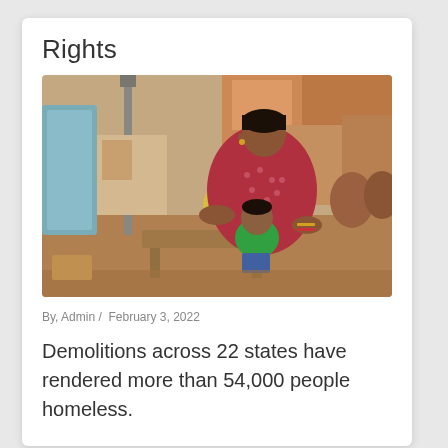Rights
[Figure (photo): A woman in a red patterned sari sits on the floor holding a young child in a green shirt, surrounded by household items in what appears to be a modest dwelling]
By, Admin /  February 3, 2022
Demolitions across 22 states have rendered more than 54,000 people homeless.